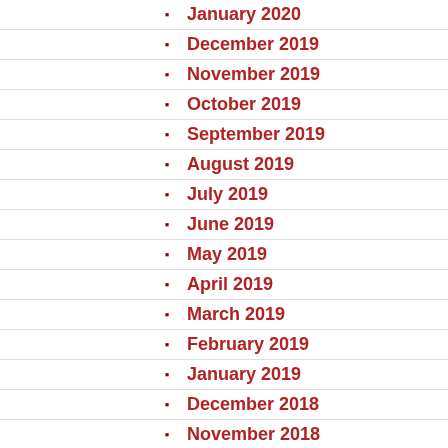January 2020
December 2019
November 2019
October 2019
September 2019
August 2019
July 2019
June 2019
May 2019
April 2019
March 2019
February 2019
January 2019
December 2018
November 2018
October 2018
September 2018
August 2018
July 2018
June 2018
May 2018